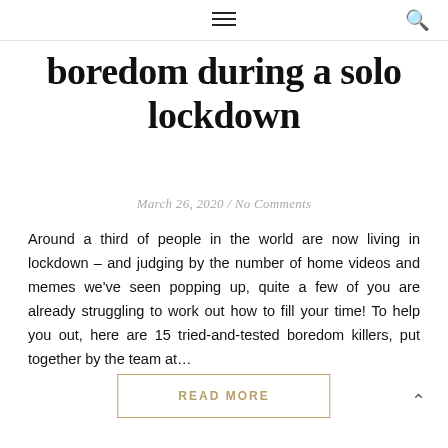☰ 🔍
boredom during a solo lockdown
March 26, 2020 / No Comments
Around a third of people in the world are now living in lockdown – and judging by the number of home videos and memes we've seen popping up, quite a few of you are already struggling to work out how to fill your time! To help you out, here are 15 tried-and-tested boredom killers, put together by the team at…
READ MORE